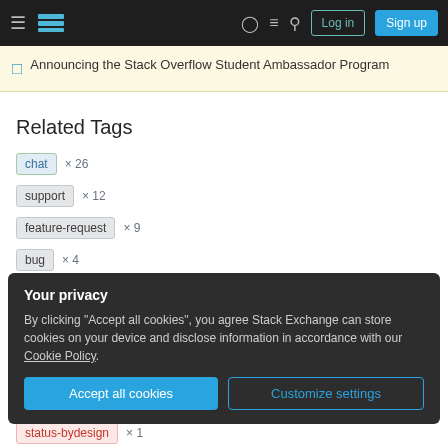Stack Overflow navigation bar with hamburger menu, logo, help, chat, search icons, Log in and Sign up buttons
Announcing the Stack Overflow Student Ambassador Program
Related Tags
chat × 26
support × 12
feature-request × 9
bug × 4
discussion × 4
Your privacy
By clicking "Accept all cookies", you agree Stack Exchange can store cookies on your device and disclose information in accordance with our Cookie Policy.
Accept all cookies   Customize settings
status-bydesign × 1